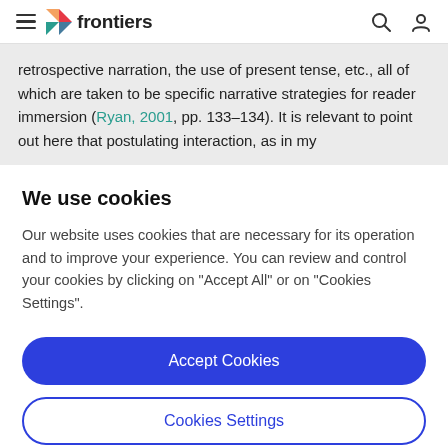frontiers
retrospective narration, the use of present tense, etc., all of which are taken to be specific narrative strategies for reader immersion (Ryan, 2001, pp. 133–134). It is relevant to point out here that postulating interaction, as in my
We use cookies
Our website uses cookies that are necessary for its operation and to improve your experience. You can review and control your cookies by clicking on "Accept All" or on "Cookies Settings".
Accept Cookies
Cookies Settings